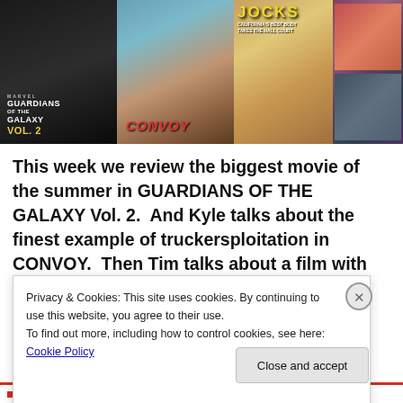[Figure (photo): Collage of four movie poster panels: Guardians of the Galaxy Vol. 2 (black and white), Convoy (earth tones with couple embracing), Jocks (tan/sports themed), and a fourth mixed collage panel]
This week we review the biggest movie of the summer in GUARDIANS OF THE GALAXY Vol. 2.  And Kyle talks about the finest example of truckersploitation in CONVOY.  Then Tim talks about a film with one of his favorite...
Privacy & Cookies: This site uses cookies. By continuing to use this website, you agree to their use.
To find out more, including how to control cookies, see here: Cookie Policy
Close and accept